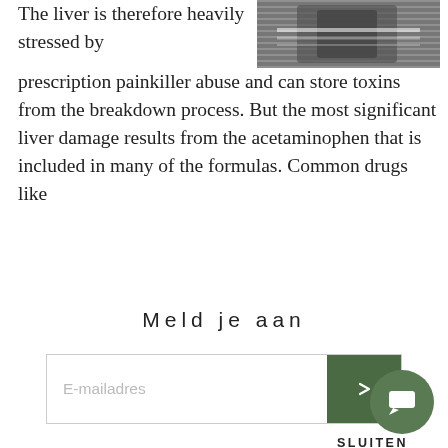[Figure (photo): Partial view of a person, dark/blurred image cropped at top right]
The liver is therefore heavily stressed by prescription painkiller abuse and can store toxins from the breakdown process. But the most significant liver damage results from the acetaminophen that is included in many of the formulas. Common drugs like
Meld je aan
E-mailadres
SLUITEN
remove most of the acetaminophen. Many people skip this step and abuse the pills in their original forms.
In 2011, the FDA limited the amount of acetaminophen in an opiate painkiller to 325 mg per